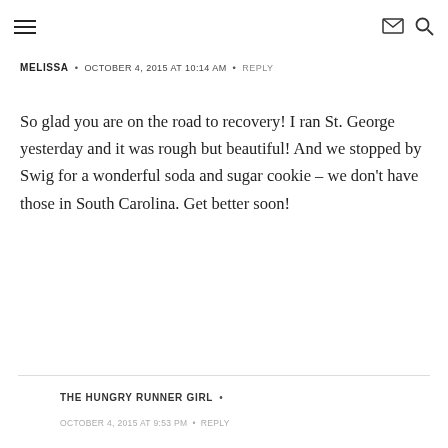≡  [envelope icon] [search icon]
MELISSA  •  OCTOBER 4, 2015 AT 10:14 AM  •  REPLY
So glad you are on the road to recovery! I ran St. George yesterday and it was rough but beautiful! And we stopped by Swig for a wonderful soda and sugar cookie – we don't have those in South Carolina. Get better soon!
THE HUNGRY RUNNER GIRL  •
OCTOBER 4, 2015 AT 9:53 PM  •  REPLY